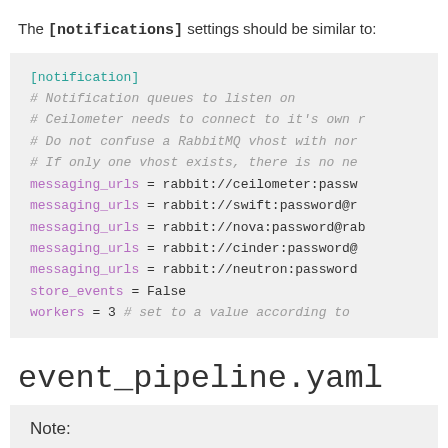The [notifications] settings should be similar to:
[notification]
# Notification queues to listen on
# Ceilometer needs to connect to it's own r
# Do not confuse a RabbitMQ vhost with nor
# If only one vhost exists, there is no ne
messaging_urls = rabbit://ceilometer:passw
messaging_urls = rabbit://swift:password@r
messaging_urls = rabbit://nova:password@rab
messaging_urls = rabbit://cinder:password@
messaging_urls = rabbit://neutron:password
store_events = False
workers = 3  # set to a value according to
event_pipeline.yaml
Note: